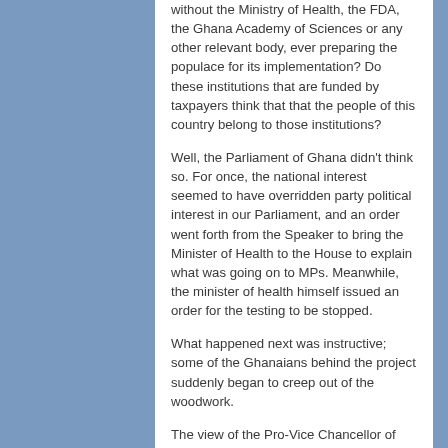without the Ministry of Health, the FDA, the Ghana Academy of Sciences or any other relevant body, ever preparing the populace for its implementation? Do these institutions that are funded by taxpayers think that that the people of this country belong to those institutions?
Well, the Parliament of Ghana didn't think so. For once, the national interest seemed to have overridden party political interest in our Parliament, and an order went forth from the Speaker to bring the Minister of Health to the House to explain what was going on to MPs. Meanwhile, the minister of health himself issued an order for the testing to be stopped.
What happened next was instructive; some of the Ghanaians behind the project suddenly began to creep out of the woodwork.
The view of the Pro-Vice Chancellor of the University of Health and Allied Sciences, Professor Fred Binka, said the trials formed part of preparations towards any case detection in Ghana. They had the “full backing” of the World Health Organization, he…